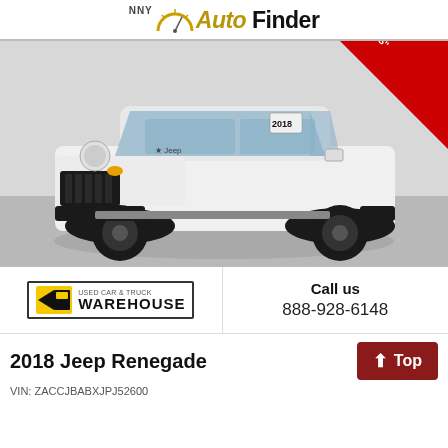[Figure (logo): NNY Auto Finder logo with speedometer graphic]
[Figure (photo): 2018 Jeep Renegade white SUV with red banner saying NO PAYMENTS FOR 90 DAYS and 2018 sticker on windshield]
[Figure (logo): Used Car & Truck Warehouse dealer logo]
Call us
888-928-6148
2018 Jeep Renegade
↑ Top
VIN: ZACCJBABXJPJ52600